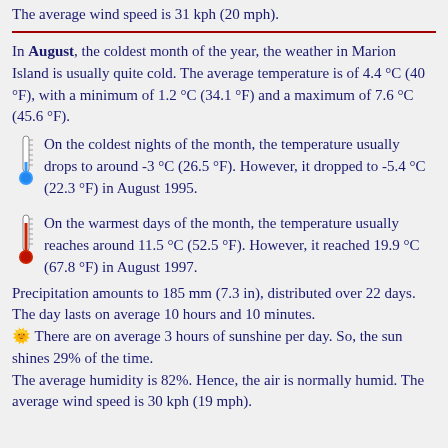The average wind speed is 31 kph (20 mph).
In August, the coldest month of the year, the weather in Marion Island is usually quite cold. The average temperature is of 4.4 °C (40 °F), with a minimum of 1.2 °C (34.1 °F) and a maximum of 7.6 °C (45.6 °F).
On the coldest nights of the month, the temperature usually drops to around -3 °C (26.5 °F). However, it dropped to -5.4 °C (22.3 °F) in August 1995.
On the warmest days of the month, the temperature usually reaches around 11.5 °C (52.5 °F). However, it reached 19.9 °C (67.8 °F) in August 1997.
Precipitation amounts to 185 mm (7.3 in), distributed over 22 days. The day lasts on average 10 hours and 10 minutes.
There are on average 3 hours of sunshine per day. So, the sun shines 29% of the time.
The average humidity is 82%. Hence, the air is normally humid. The average wind speed is 30 kph (19 mph).